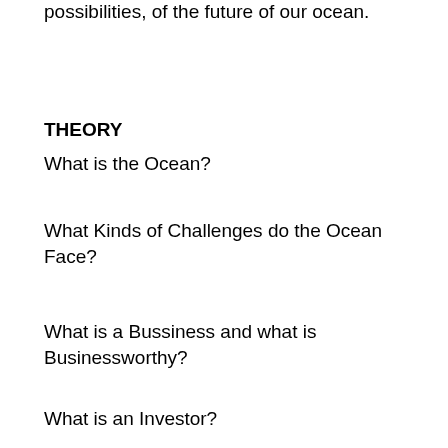possibilities, of the future of our ocean.
THEORY
What is the Ocean?
What Kinds of Challenges do the Ocean Face?
What is a Bussiness and what is Businessworthy?
What is an Investor?